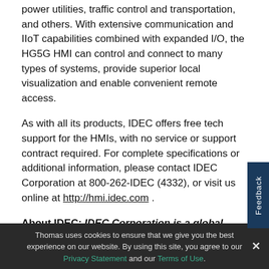power utilities, traffic control and transportation, and others. With extensive communication and IIoT capabilities combined with expanded I/O, the HG5G HMI can control and connect to many types of systems, provide superior local visualization and enable convenient remote access.
As with all its products, IDEC offers free tech support for the HMIs, with no service or support contract required. For complete specifications or additional information, please contact IDEC Corporation at 800-262-IDEC (4332), or visit us online at http://hmi.idec.com .
About IDEC: IDEC Corporation is a global supplier that has provided innovative and reliable industrial automation and control products since 1945. Covering a
Thomas uses cookies to ensure that we give you the best experience on our website. By using this site, you agree to our Privacy Statement and our Terms of Use.